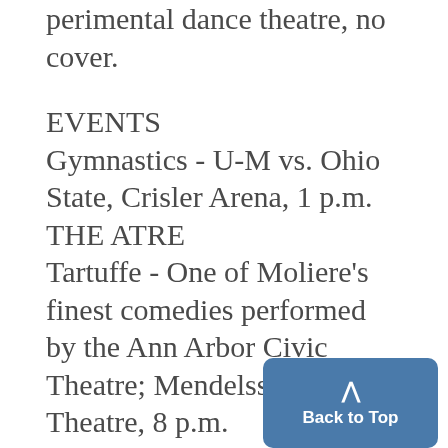perimental dance theatre, no cover.
EVENTS
Gymnastics - U-M vs. Ohio State, Crisler Arena, 1 p.m.
THE ATRE
Tartuffe - One of Moliere's finest comedies performed by the Ann Arbor Civic Theatre; Mendelssohn Theatre, 8 p.m.
THE TUBE
Son of Frankenstein (1939) airs on Channel 2 today at 3